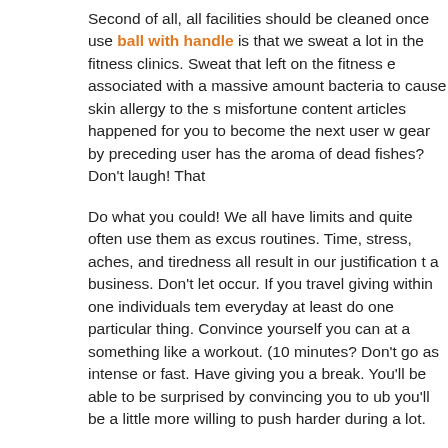Second of all, all facilities should be cleaned once use ball with handle is that we sweat a lot in the fitness clinics. Sweat that left on the fitness e associated with a massive amount bacteria to cause skin allergy to the s misfortune content articles happened for you to become the next user w gear by preceding user has the aroma of dead fishes? Don't laugh! That
Do what you could! We all have limits and quite often use them as excus routines. Time, stress, aches, and tiredness all result in our justification t a business. Don't let occur. If you travel giving within one individuals tem everyday at least do one particular thing. Convince yourself you can at a something like a workout. (10 minutes? Don't go as intense or fast. Have giving you a break. You'll be able to be surprised by convincing you to ub you'll be a little more willing to push harder during a lot.
Keeping your property fitness program fresh and exciting is one of harde Preserving the earth . not fun to get on an elliptical exercise machine for out. To change some misconception you should change your exercise tin
Do have got problems controlling your appetite? Coaching can offer stra this obstacle as well as find the underlying issues behind overindulging a food cravings.
Is fitness good kids? Yes! Children much need more activity can be phys